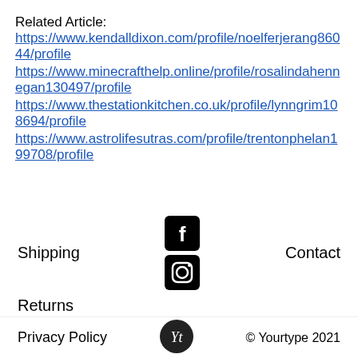Related Article: https://www.kendalldixon.com/profile/noelferjerang86044/profile https://www.minecrafthelp.online/profile/rosalindahennegan130497/profile https://www.thestationkitchen.co.uk/profile/lynngrim108694/profile https://www.astrolifesutras.com/profile/trentonphelan199708/profile
Shipping
[Figure (other): Facebook social media icon (black rounded square with white F)]
Contact
[Figure (other): Instagram social media icon (black rounded square with camera graphic)]
Returns
Privacy Policy
[Figure (logo): Yourtype logo - circular black badge with white Yt text]
© Yourtype 2021